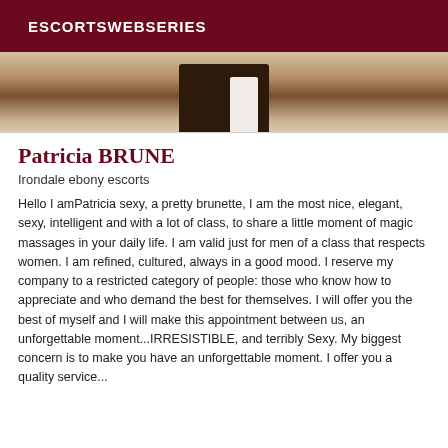ESCORTSWEBSERIES
[Figure (photo): Partial photo of a person, cropped, showing lower body/torso area with warm brown tones]
Patricia BRUNE
Irondale ebony escorts
Hello I amPatricia sexy, a pretty brunette, I am the most nice, elegant, sexy, intelligent and with a lot of class, to share a little moment of magic massages in your daily life. I am valid just for men of a class that respects women. I am refined, cultured, always in a good mood. I reserve my company to a restricted category of people: those who know how to appreciate and who demand the best for themselves. I will offer you the best of myself and I will make this appointment between us, an unforgettable moment...IRRESISTIBLE, and terribly Sexy. My biggest concern is to make you have an unforgettable moment. I offer you a quality service...